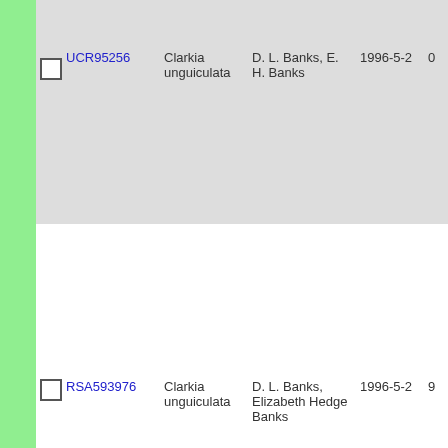|  | ID | Species | Collector | Date |  |
| --- | --- | --- | --- | --- | --- |
| ☐ | UCR95256 | Clarkia unguiculata | D. L. Banks, E. H. Banks | 1996-5-2 | 0 |
| ☐ | RSA593976 | Clarkia unguiculata | D. L. Banks, Elizabeth Hedge Banks | 1996-5-2 | 9 |